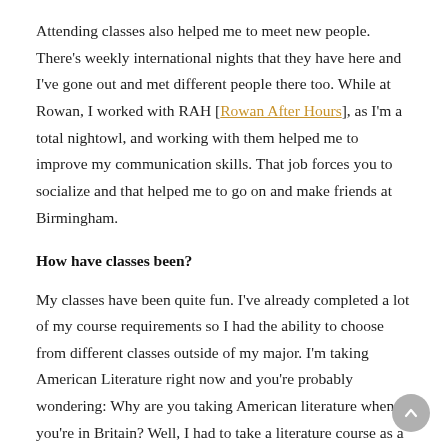Attending classes also helped me to meet new people. There's weekly international nights that they have here and I've gone out and met different people there too. While at Rowan, I worked with RAH [Rowan After Hours], as I'm a total nightowl, and working with them helped me to improve my communication skills. That job forces you to socialize and that helped me to go on and make friends at Birmingham.
How have classes been?
My classes have been quite fun. I've already completed a lot of my course requirements so I had the ability to choose from different classes outside of my major. I'm taking American Literature right now and you're probably wondering: Why are you taking American literature when you're in Britain? Well, I had to take a literature course as a